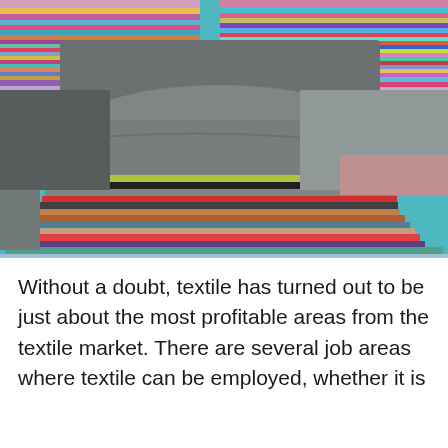[Figure (photo): Stacks of colorful folded textiles and clothing arranged on a blue surface at a market or store, showing various colors including grey, red, green, pink, teal, striped patterns.]
Without a doubt, textile has turned out to be just about the most profitable areas from the textile market. There are several job areas where textile can be employed, whether it is